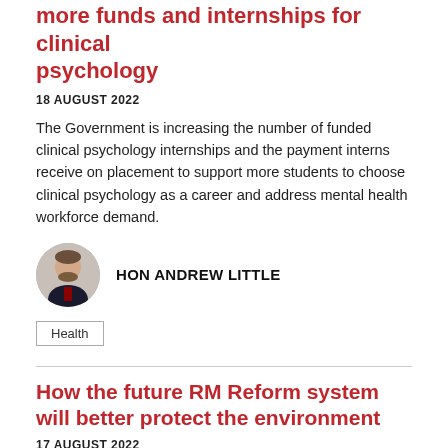more funds and internships for clinical psychology
18 AUGUST 2022
The Government is increasing the number of funded clinical psychology internships and the payment interns receive on placement to support more students to choose clinical psychology as a career and address mental health workforce demand.
HON ANDREW LITTLE
Health
How the future RM Reform system will better protect the environment
17 AUGUST 2022
Environment Minister David Parker has been asked...